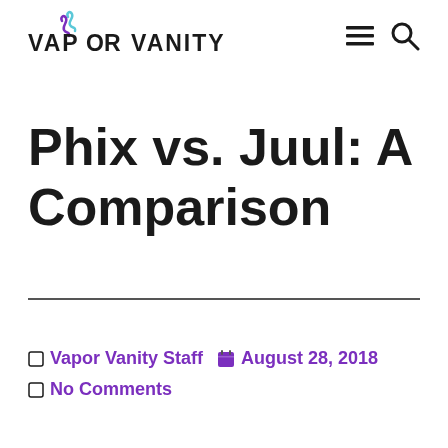VAPOR VANITY
Phix vs. Juul: A Comparison
Vapor Vanity Staff   August 28, 2018
No Comments